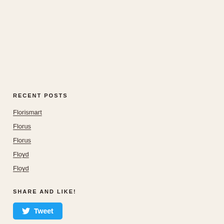RECENT POSTS
Florismart
Florus
Florus
Floyd
Floyd
SHARE AND LIKE!
Tweet